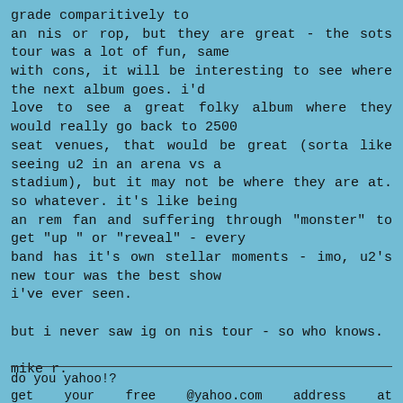grade comparitively to an nis or rop, but they are great - the sots tour was a lot of fun, same with cons, it will be interesting to see where the next album goes. i'd love to see a great folky album where they would really go back to 2500 seat venues, that would be great (sorta like seeing u2 in an arena vs a stadium), but it may not be where they are at. so whatever. it's like being an rem fan and suffering through "monster" to get "up " or "reveal" - every band has it's own stellar moments - imo, u2's new tour was the best show i've ever seen.

but i never saw ig on nis tour - so who knows.

mike r.
do you yahoo!?
get your free @yahoo.com address at